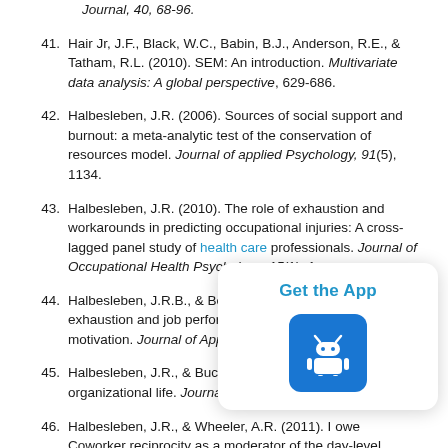Journal, 40, 68-96. (partial, top of page)
41. Hair Jr, J.F., Black, W.C., Babin, B.J., Anderson, R.E., & Tatham, R.L. (2010). SEM: An introduction. Multivariate data analysis: A global perspective, 629-686.
42. Halbesleben, J.R. (2006). Sources of social support and burnout: a meta-analytic test of the conservation of resources model. Journal of applied Psychology, 91(5), 1134.
43. Halbesleben, J.R. (2010). The role of exhaustion and workarounds in predicting occupational injuries: A cross-lagged panel study of health care professionals. Journal of Occupational Health Psychology, 15(1), 1.
44. Halbesleben, J.R.B., & Bowler, W.M. (2007). Emotional exhaustion and job performance: The mediating role of motivation. Journal of Applied Psychology, 92, 9[truncated]
45. Halbesleben, J.R., & Buckley, M.R. (2004). Burn[truncated] organizational life. Journal of Management, 30([truncated]
46. Halbesleben, J.R., & Wheeler, A.R. (2011). I owe[truncated] Coworker reciprocity as a moderator of the day-level exhaustion-performance relationship. Journal of[truncated]
[Figure (other): Get the App popup with Android icon button]